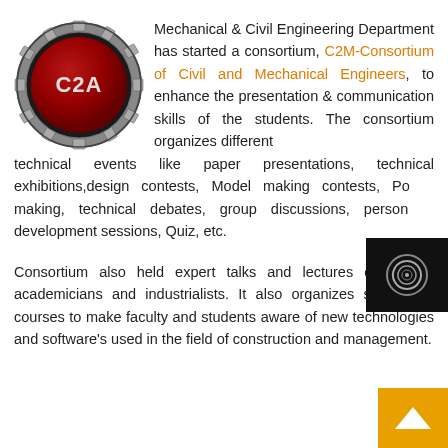[Figure (logo): C2M consortium gear-shaped logo with red center and metallic border, text C2A visible]
Mechanical & Civil Engineering Department has started a consortium, C2M-Consortium of Civil and Mechanical Engineers, to enhance the presentation & communication skills of the students. The consortium organizes different technical events like paper presentations, technical exhibitions,design contests, Model making contests, Poster making, technical debates, group discussions, personality development sessions, Quiz, etc.
Consortium also held expert talks and lectures of various academicians and industrialists. It also organizes short term courses to make faculty and students aware of new technologies and software's used in the field of construction and management.
[Figure (logo): Black square with circular spiral/vortex icon in bottom right corner]
[Figure (other): Orange/amber square with white upward arrow, bottom right corner navigation button]